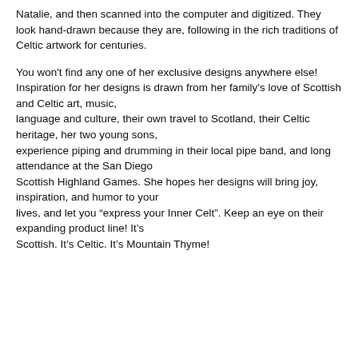Natalie, and then scanned into the computer and digitized. They look hand-drawn because they are, following in the rich traditions of Celtic artwork for centuries.
You won't find any one of her exclusive designs anywhere else! Inspiration for her designs is drawn from her family's love of Scottish and Celtic art, music, language and culture, their own travel to Scotland, their Celtic heritage, her two young sons, experience piping and drumming in their local pipe band, and long attendance at the San Diego Scottish Highland Games. She hopes her designs will bring joy, inspiration, and humor to your lives, and let you “express your Inner Celt”. Keep an eye on their expanding product line! It’s Scottish. It’s Celtic. It’s Mountain Thyme!